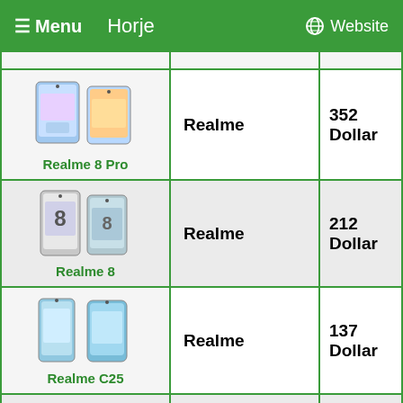☰ Menu   Horje   🌐 Website
| Product | Brand | Price |
| --- | --- | --- |
| Realme 8 Pro | Realme | 352 Dollar |
| Realme 8 | Realme | 212 Dollar |
| Realme C25 | Realme | 137 Dollar |
| Realme C21 | Realme | 130 Dollar |
| (partial) | Realme | 205 Dollar |